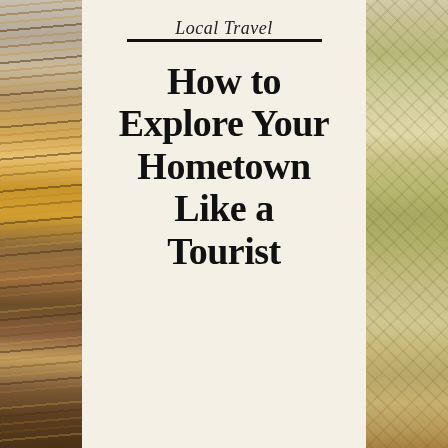[Figure (photo): Left side strip showing colored pencils and crayons on a textured surface]
[Figure (photo): Right side strip showing a city map being held by hands]
Local Travel
How to Explore Your Hometown Like a Tourist